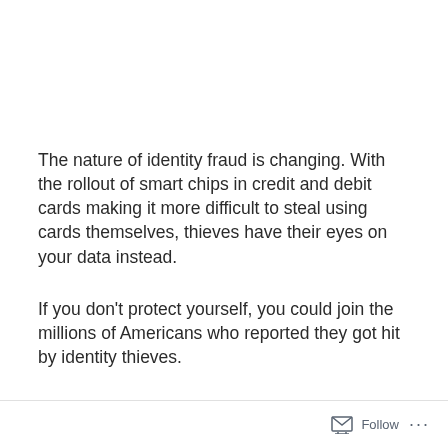The nature of identity fraud is changing. With the rollout of smart chips in credit and debit cards making it more difficult to steal using cards themselves, thieves have their eyes on your data instead.
If you don't protect yourself, you could join the millions of Americans who reported they got hit by identity thieves.
While mobile banking and payments are certainly making it easier and more convenient to handle one's finances and conduct business, the same ease and convenience
Follow ···